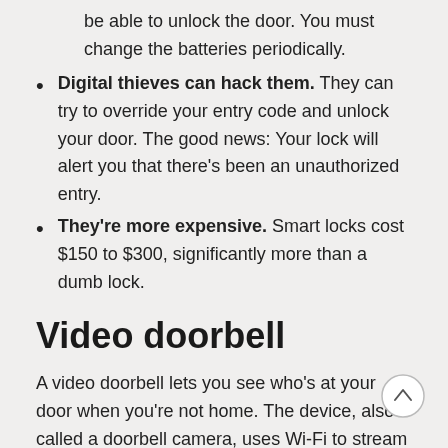be able to unlock the door. You must change the batteries periodically.
Digital thieves can hack them. They can try to override your entry code and unlock your door. The good news: Your lock will alert you that there's been an unauthorized entry.
They're more expensive. Smart locks cost $150 to $300, significantly more than a dumb lock.
Video doorbell
A video doorbell lets you see who's at your door when you're not home. The device, also called a doorbell camera, uses Wi-Fi to stream live video to your phone. Here's how it works: When someone rings the doorbell, or when the camera detects motion, an app will notify